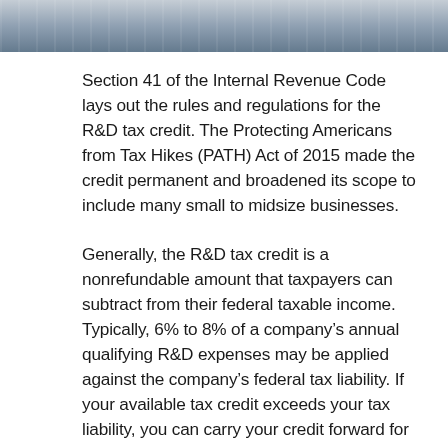[Figure (photo): Partial photograph visible at top of page, appears to show office or technology-related imagery in blue-grey tones.]
Section 41 of the Internal Revenue Code lays out the rules and regulations for the R&D tax credit. The Protecting Americans from Tax Hikes (PATH) Act of 2015 made the credit permanent and broadened its scope to include many small to midsize businesses.
Generally, the R&D tax credit is a nonrefundable amount that taxpayers can subtract from their federal taxable income. Typically, 6% to 8% of a company’s annual qualifying R&D expenses may be applied against the company’s federal tax liability. If your available tax credit exceeds your tax liability, you can carry your credit forward for up to 20 years. In some instances, the R&D tax credit may be used to offset the alternative minimum tax, while in other instances qualifying new businesses may be able to apply up to $250,000 of their R&D tax credit to their payroll tax liability.